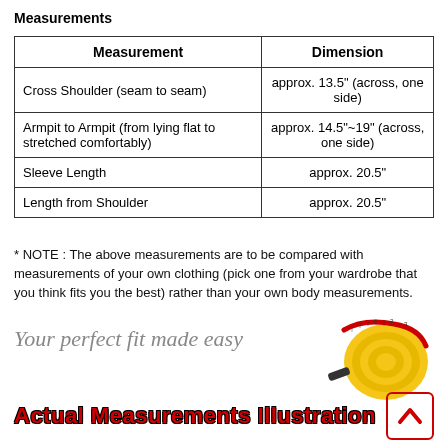Measurements
| Measurement | Dimension |
| --- | --- |
| Cross Shoulder (seam to seam) | approx. 13.5" (across, one side) |
| Armpit to Armpit (from lying flat to stretched comfortably) | approx. 14.5"~19" (across, one side) |
| Sleeve Length | approx. 20.5" |
| Length from Shoulder | approx. 20.5" |
* NOTE : The above measurements are to be compared with measurements of your own clothing (pick one from your wardrobe that you think fits you the best) rather than your own body measurements.
Your perfect fit made easy
[Figure (photo): Rolled yellow measuring tape]
Actual Measurements Illustration